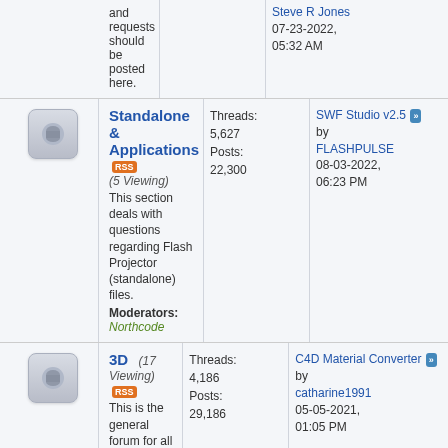and requests should be posted here.
Steve R Jones
07-23-2022, 05:32 AM
Standalone & Applications (5 Viewing) - Threads: 5,627 Posts: 22,300 - Last: SWF Studio v2.5 by FLASHPULSE 08-03-2022, 06:23 PM - Moderators: Northcode
3D (17 Viewing) - Threads: 4,186 Posts: 29,186 - Last: C4D Material Converter by catharine1991 05-05-2021, 01:05 PM - Moderators: gerbick
Macintosh (5 Viewing) - Threads: 2,423 Posts: 10,732 - Last: SopCast or Torrent stream for... by JonnySnow 05-15-2019, 11:21 AM
XML (13 Viewing) - Threads: 4,408 Posts: 16,442 - Last: HTML vs XML? by mamhamamba